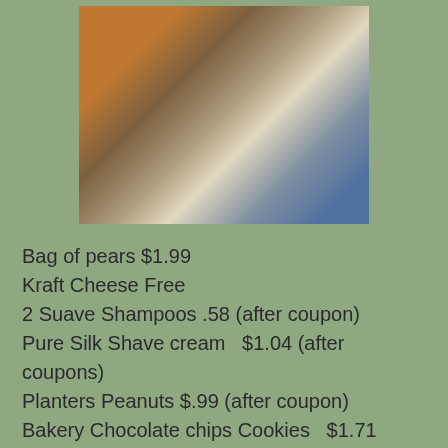[Figure (photo): Overhead photo of grocery items including bags of carrots, pears, Kraft cheese, Suave shampoo bottles, pepperoni, and other grocery products arranged together]
Bag of pears $1.99
Kraft Cheese Free
2 Suave Shampoos .58 (after coupon)
Pure Silk Shave cream  $1.04 (after coupons)
Planters Peanuts $.99 (after coupon)
Bakery Chocolate chips Cookies   $1.71
Two Truvia $6.79 each
2 Heinz Ketchup $3.29 each
Kraft Mayo Free
Old El Paso taco Shells  Free